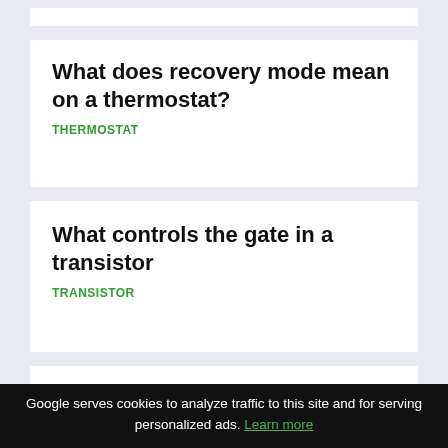What does recovery mode mean on a thermostat?
THERMOSTAT
What controls the gate in a transistor
TRANSISTOR
What is the working principle of Zener diode?
Google serves cookies to analyze traffic to this site and for serving personalized ads. Learn more